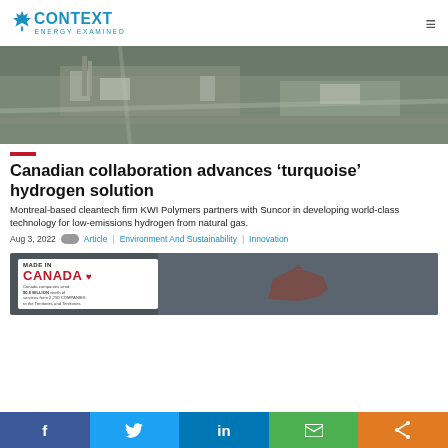CONTEXT ENERGY EXAMINED
[Figure (photo): Aerial photograph of an industrial facility, likely a refinery or chemical plant, showing buildings, roads, and equipment from above.]
Canadian collaboration advances ‘turquoise’ hydrogen solution
Montreal-based cleantech firm KWI Polymers partners with Suncor in developing world-class technology for low-emissions hydrogen from natural gas.
Aug 3, 2022  Article | Environment And Sustainability | Innovation
[Figure (photo): Made in Canada promotional banner image showing a map of Canada with red maple leaf design and text about Canadian companies.]
f  (Twitter bird icon)  in  (Email icon)  (Share icon)